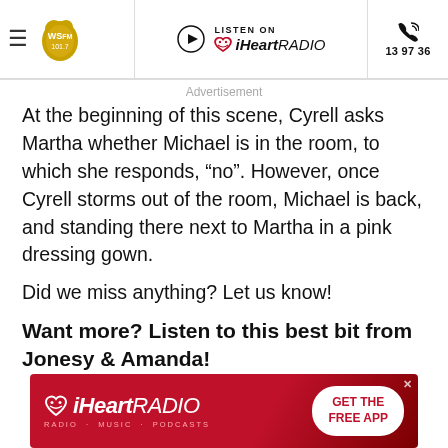WSFM 101.7 | LISTEN ON iHeartRADIO | 13 97 36
Advertisement
At the beginning of this scene, Cyrell asks Martha whether Michael is in the room, to which she responds, “no”. However, once Cyrell storms out of the room, Michael is back, and standing there next to Martha in a pink dressing gown.
Did we miss anything? Let us know!
Want more? Listen to this best bit from Jonesy & Amanda!
[Figure (other): iHeartRADIO GET THE FREE APP advertisement banner]